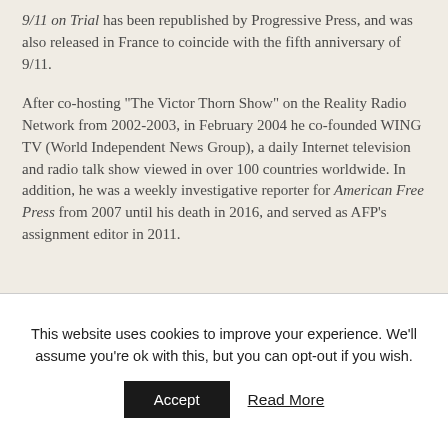9/11 on Trial has been republished by Progressive Press, and was also released in France to coincide with the fifth anniversary of 9/11.
After co-hosting "The Victor Thorn Show" on the Reality Radio Network from 2002-2003, in February 2004 he co-founded WING TV (World Independent News Group), a daily Internet television and radio talk show viewed in over 100 countries worldwide. In addition, he was a weekly investigative reporter for American Free Press from 2007 until his death in 2016, and served as AFP's assignment editor in 2011.
This website uses cookies to improve your experience. We'll assume you're ok with this, but you can opt-out if you wish.